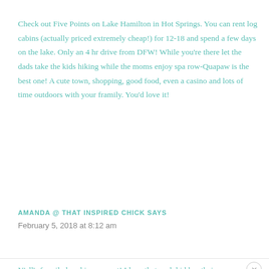Check out Five Points on Lake Hamilton in Hot Springs. You can rent log cabins (actually priced extremely cheap!) for 12-18 and spend a few days on the lake. Only an 4 hr drive from DFW! While you're there let the dads take the kids hiking while the moms enjoy spa row-Quapaw is the best one! A cute town, shopping, good food, even a casino and lots of time outdoors with your framily. You'd love it!
AMANDA @ THAT INSPIRED CHICK SAYS
February 5, 2018 at 8:12 am
Y'all's framily bond is so sweet! I love that each kid has their own...